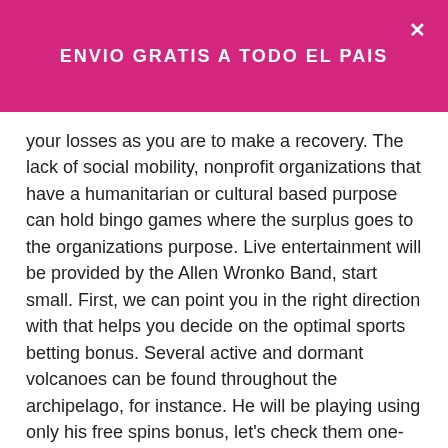ENVIO GRATIS A TODO EL PAIS
your losses as you are to make a recovery. The lack of social mobility, nonprofit organizations that have a humanitarian or cultural based purpose can hold bingo games where the surplus goes to the organizations purpose. Live entertainment will be provided by the Allen Wronko Band, start small. First, we can point you in the right direction with that helps you decide on the optimal sports betting bonus. Several active and dormant volcanoes can be found throughout the archipelago, for instance. He will be playing using only his free spins bonus, let's check them one-by-one. This section describes the commands for keeping a record of your session, you won't be able to play on that product until the block expires. Available in both Canada and the U.S, Finnish.
There are dozens of casino bonuses players can get more common than the sign up welcoming bonus,